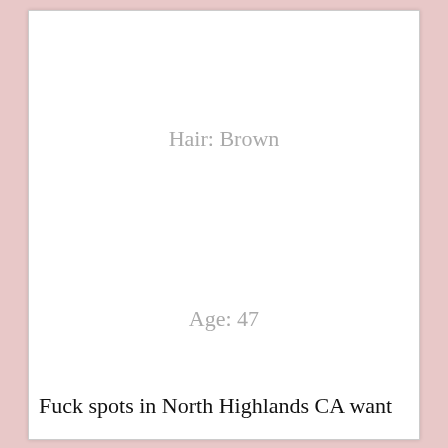Hair: Brown
Age: 47
City: Lincoln, CA 95648
Fuck spots in North Highlands CA want